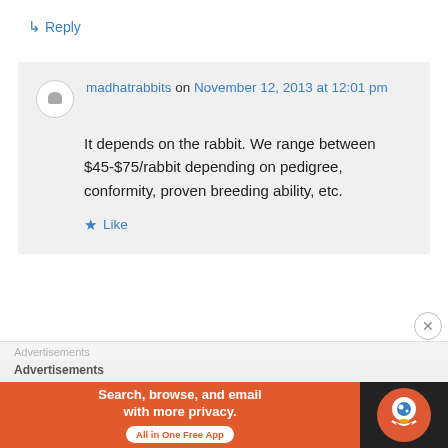↳ Reply
madhatrabbits on November 12, 2013 at 12:01 pm
It depends on the rabbit. We range between $45-$75/rabbit depending on pedigree, conformity, proven breeding ability, etc.
★ Like
↳ Reply
Advertisements
Search, browse, and email with more privacy. All in One Free App